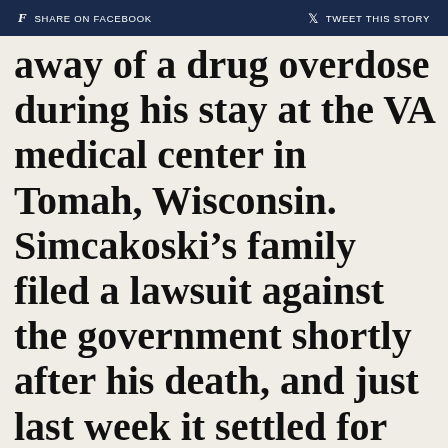f SHARE ON FACEBOOK   🐦 TWEET THIS STORY
away of a drug overdose during his stay at the VA medical center in Tomah, Wisconsin. Simcakoski’s family filed a lawsuit against the government shortly after his death, and just last week it settled for $2.3 million. But what happened to lead to the overdose? Was the VA medical center responsible